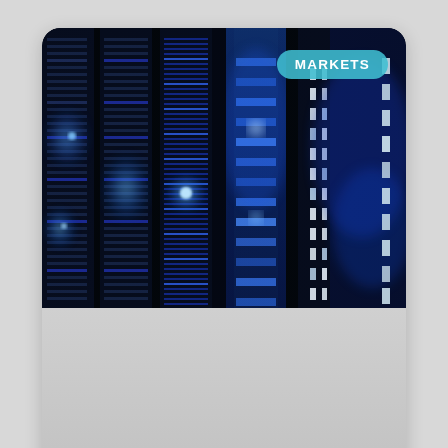[Figure (photo): Data center server racks with blue lighting, viewed in rows with illuminated indicators. A teal 'MARKETS' badge is overlaid in the upper right of the image.]